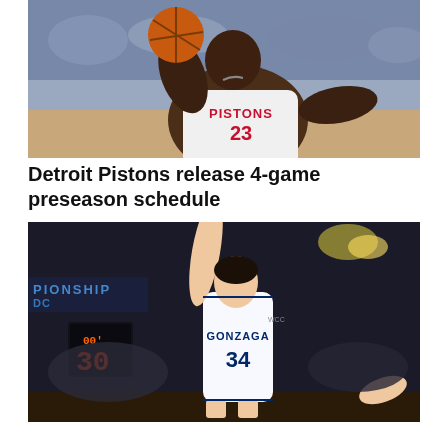[Figure (photo): Detroit Pistons basketball player wearing white jersey number 23 reaching for a basketball, crowd in background]
Detroit Pistons release 4-game preseason schedule
[Figure (photo): Gonzaga basketball player wearing white jersey number 34 with arm raised pointing, scoreboard showing 30 in background, championship signage visible]